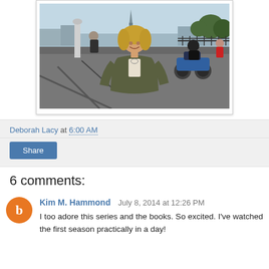[Figure (photo): A woman with blonde hair wearing an olive/khaki jacket smiling in front of the Eiffel Tower in Paris. People and a motorcycle visible in the background on a bridge or riverside walkway.]
Deborah Lacy at 6:00 AM
Share
6 comments:
Kim M. Hammond  July 8, 2014 at 12:26 PM
I too adore this series and the books. So excited. I've watched the first season practically in a day!